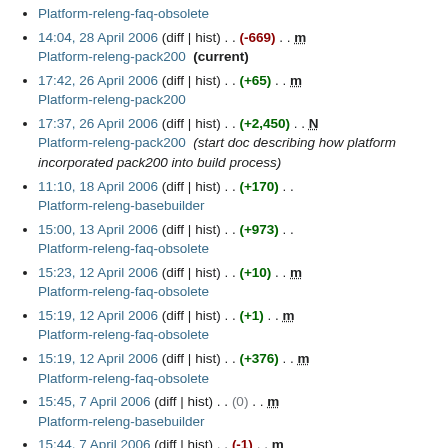Platform-releng-faq-obsolete
14:04, 28 April 2006 (diff | hist) . . (-669) . . m Platform-releng-pack200 (current)
17:42, 26 April 2006 (diff | hist) . . (+65) . . m Platform-releng-pack200
17:37, 26 April 2006 (diff | hist) . . (+2,450) . . N Platform-releng-pack200 (start doc describing how platform incorporated pack200 into build process)
11:10, 18 April 2006 (diff | hist) . . (+170) . . Platform-releng-basebuilder
15:00, 13 April 2006 (diff | hist) . . (+973) . . Platform-releng-faq-obsolete
15:23, 12 April 2006 (diff | hist) . . (+10) . . m Platform-releng-faq-obsolete
15:19, 12 April 2006 (diff | hist) . . (+1) . . m Platform-releng-faq-obsolete
15:19, 12 April 2006 (diff | hist) . . (+376) . . m Platform-releng-faq-obsolete
15:45, 7 April 2006 (diff | hist) . . (0) . . m Platform-releng-basebuilder
15:44, 7 April 2006 (diff | hist) . . (-1) . . m